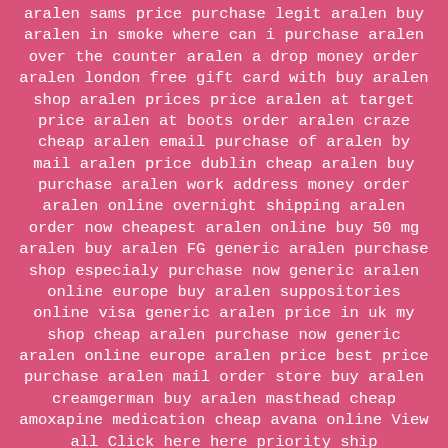aralen sams price purchase legit aralen buy aralen in smoke where can i purchase aralen over the counter aralen a drop money order aralen london free gift card with buy aralen shop aralen prices price aralen at target price aralen at boots order aralen craze cheap aralen email purchase of aralen by mail aralen price dublin cheap aralen buy purchase aralen work address money order aralen online overnight shipping aralen order now cheapest aralen online buy 50 mg aralen buy aralen FG generic aralen purchase shop especialy purchase now generic aralen online europe buy aralen suppositories online visa generic aralen price in uk my shop cheap aralen purchase now generic aralen online europe aralen price best price purchase aralen mail order store buy aralen creamgerman buy aralen masthead cheap amoxapine medication cheap avana online View all Click here here priority ship desvenlafaxine with check get now